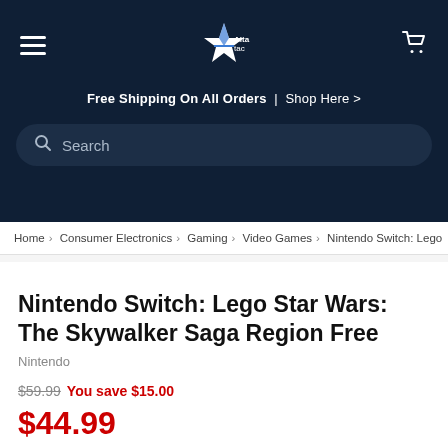[Figure (logo): Alta Tac store logo with star icon on dark navy background]
Free Shipping On All Orders  |  Shop Here >
Search
Home › Consumer Electronics › Gaming › Video Games › Nintendo Switch: Lego
Nintendo Switch: Lego Star Wars: The Skywalker Saga Region Free
Nintendo
$59.99 You save $15.00
$44.99
Be the first to leave a review